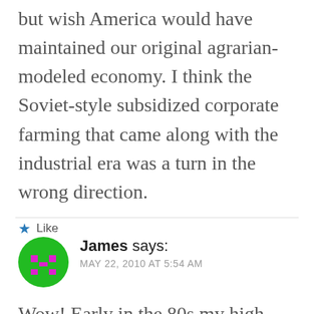but wish America would have maintained our original agrarian-modeled economy. I think the Soviet-style subsidized corporate farming that came along with the industrial era was a turn in the wrong direction.
★ Like
REPLY
[Figure (illustration): Green circle avatar with pixel-art alien/monster face in magenta/pink]
James says:
MAY 22, 2010 AT 5:54 AM
Wow! Early in the 80s my high school friend and I decided to spend one